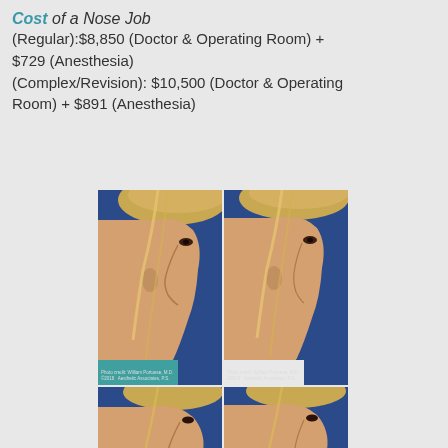Cost of a Nose Job
(Regular):$8,850 (Doctor & Operating Room) + $729 (Anesthesia)
(Complex/Revision): $10,500 (Doctor & Operating Room) + $891 (Anesthesia)
[Figure (photo): Before and after rhinoplasty photos showing side-profile views of a blonde woman. Top row: left photo shows pre-surgery profile, right photo shows post-surgery profile. Bottom row: additional before/after angle views. Photo credit: William Portuese, M.D., ©2018 Aesthetic Associates, P.S.]